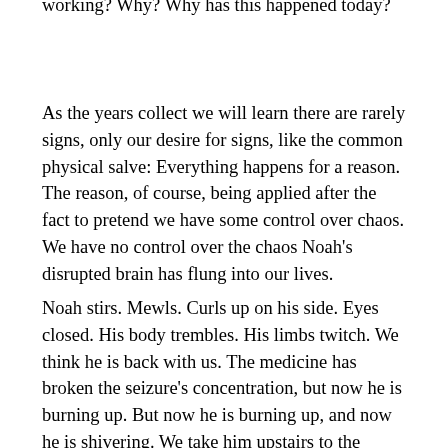working? Why? Why has this happened today?
As the years collect we will learn there are rarely signs, only our desire for signs, like the common physical salve: Everything happens for a reason. The reason, of course, being applied after the fact to pretend we have some control over chaos. We have no control over the chaos Noah's disrupted brain has flung into our lives.
Noah stirs. Mewls. Curls up on his side. Eyes closed. His body trembles. His limbs twitch. We think he is back with us. The medicine has broken the seizure's concentration, but now he is burning up. But now he is burning up, and now he is shivering. We take him upstairs to the